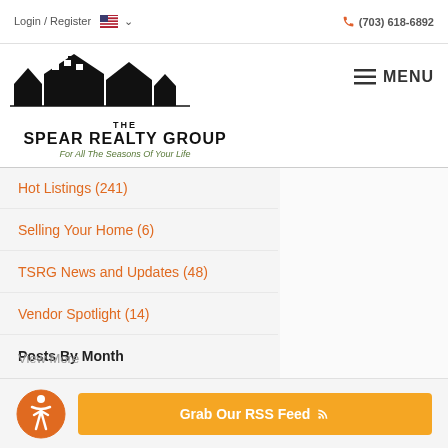Login / Register   🇺🇸 ▾                    📞 (703) 618-6892
[Figure (logo): The Spear Realty Group logo with house silhouettes and tagline 'For All The Seasons Of Your Life']
Hot Listings  (241)
Selling Your Home  (6)
TSRG News and Updates  (48)
Vendor Spotlight  (14)
Posts By Month
August, 2022  (2)
July, 2022  (1)
June, 2022  (2)
View More
Grab Our RSS Feed